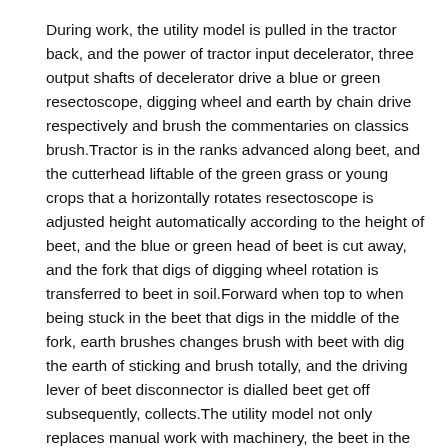During work, the utility model is pulled in the tractor back, and the power of tractor input decelerator, three output shafts of decelerator drive a blue or green resectoscope, digging wheel and earth by chain drive respectively and brush the commentaries on classics brush.Tractor is in the ranks advanced along beet, and the cutterhead liftable of the green grass or young crops that a horizontally rotates resectoscope is adjusted height automatically according to the height of beet, and the blue or green head of beet is cut away, and the fork that digs of digging wheel rotation is transferred to beet in soil.Forward when top to when being stuck in the beet that digs in the middle of the fork, earth brushes changes brush with beet with dig the earth of sticking and brush totally, and the driving lever of beet disconnector is dialled beet get off subsequently, collects.The utility model not only replaces manual work with machinery, the beet in the ground is carried out peel beet green head, excavates and once finish, and the beet that digs out is cleaner, stable work in work, high efficiency.
According to the size of tuber crops in the results ground, the utility model can be changed the fork that digs of